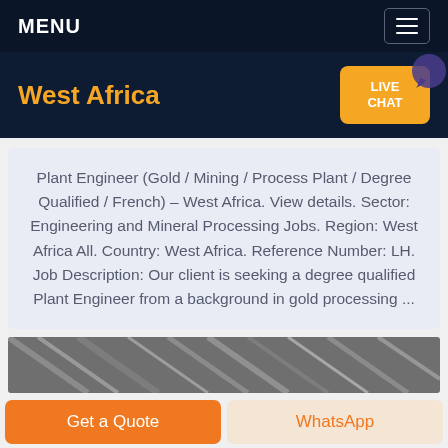MENU
West Africa
Plant Engineer (Gold / Mining / Process Plant / Degree Qualified / French) – West Africa. View details. Sector: Engineering and Mineral Processing Jobs. Region: West Africa All. Country: West Africa. Reference Number: LH. Job Description: Our client is seeking a degree qualified Plant Engineer from a background in gold processing ...
[Figure (photo): Partial photo of industrial/engineering equipment visible at bottom of the page]
Get a Quote
WhatsApp